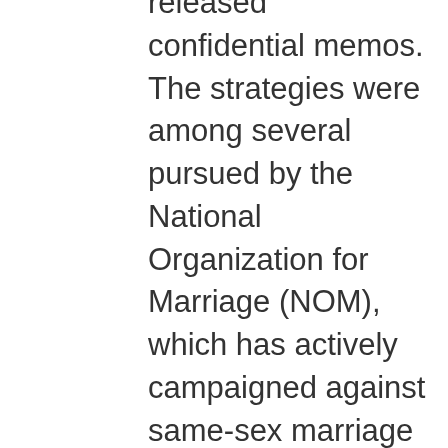released confidential memos. The strategies were among several pursued by the National Organization for Marriage (NOM), which has actively campaigned against same-sex marriage efforts. The Human Rights Campaign, a gay rights organization, said it obtained the documents, part of a civil action in Maine, on Monday and published them on its website. “This court-ordered disclosure shows NOM fighting a